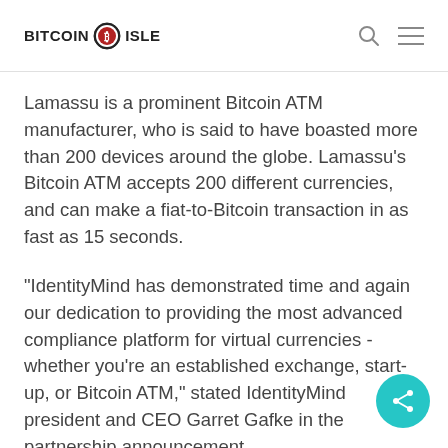BITCOIN ISLE
Lamassu is a prominent Bitcoin ATM manufacturer, who is said to have boasted more than 200 devices around the globe. Lamassu's Bitcoin ATM accepts 200 different currencies, and can make a fiat-to-Bitcoin transaction in as fast as 15 seconds.
"IdentityMind has demonstrated time and again our dedication to providing the most advanced compliance platform for virtual currencies - whether you’re an established exchange, start-up, or Bitcoin ATM," stated IdentityMind president and CEO Garret Gafke in the partnership announcement.